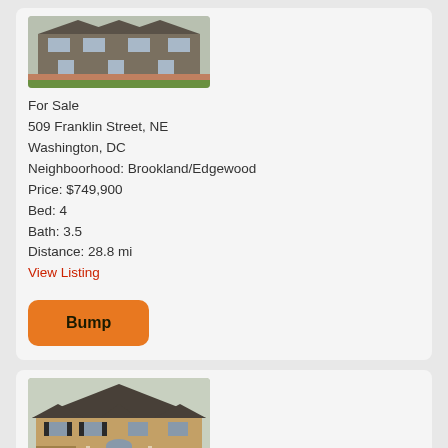[Figure (photo): Exterior photo of a townhouse/row home for sale at 509 Franklin Street NE, Washington DC]
For Sale
509 Franklin Street, NE
Washington, DC
Neighboorhood: Brookland/Edgewood
Price: $749,900
Bed: 4
Bath: 3.5
Distance: 28.8 mi
View Listing
[Figure (other): Orange Bump button]
[Figure (photo): Exterior photo of a large brick colonial-style house, second listing]